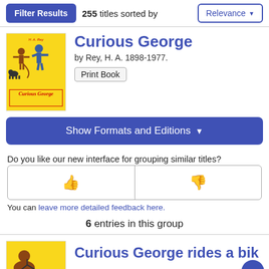255 titles sorted by Relevance
Curious George
by Rey, H. A. 1898-1977.
Print Book
Show Formats and Editions
Do you like our new interface for grouping similar titles?
You can leave more detailed feedback here.
6 entries in this group
Curious George rides a bik